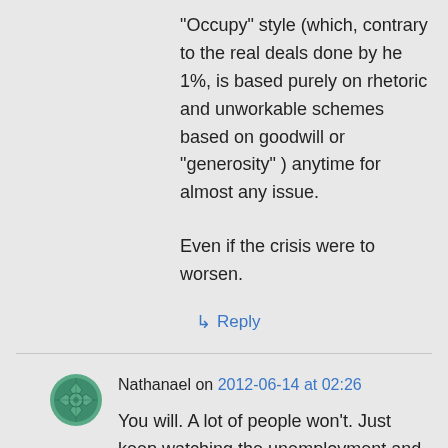“Occupy” style (which, contrary to the real deals done by he 1%, is based purely on rhetoric and unworkable schemes based on goodwill or “generosity” ) anytime for almost any issue.
Even if the crisis were to worsen.
↳ Reply
Nathanael on 2012-06-14 at 02:26
You will. A lot of people won’t. Just keep watching the unemployment and